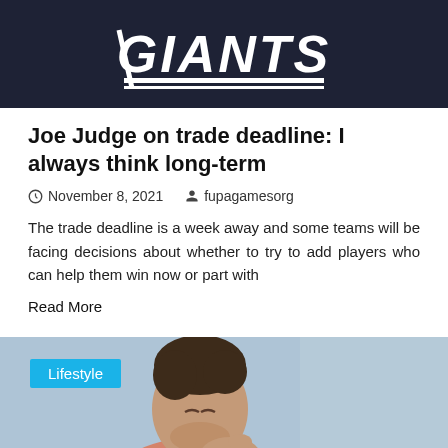[Figure (photo): Man wearing a dark navy Giants hoodie, partial face visible, outdoors]
Joe Judge on trade deadline: I always think long-term
November 8, 2021   fupagamesorg
The trade deadline is a week away and some teams will be facing decisions about whether to try to add players who can help them win now or part with
Read More
[Figure (photo): Man in a salmon/pink polo shirt with eyes closed, hands on his neck, Lifestyle category badge in top left corner]